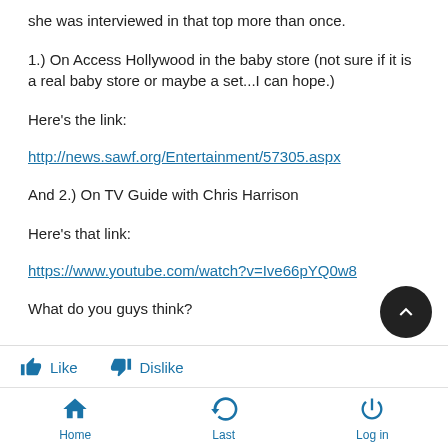she was interviewed in that top more than once.
1.) On Access Hollywood in the baby store (not sure if it is a real baby store or maybe a set...I can hope.)
Here's the link:
http://news.sawf.org/Entertainment/57305.aspx
And 2.) On TV Guide with Chris Harrison
Here's that link:
https://www.youtube.com/watch?v=Ive66pYQ0w8
What do you guys think?
Like   Dislike | Home   Last   Log in